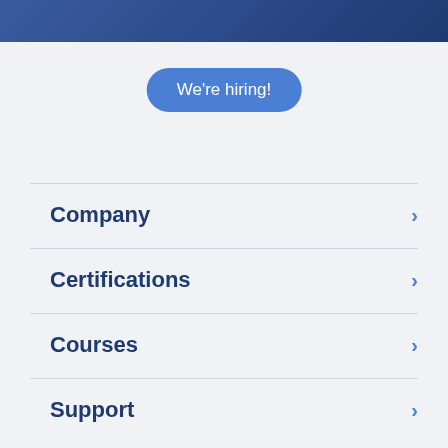We're hiring!
Company
Certifications
Courses
Support